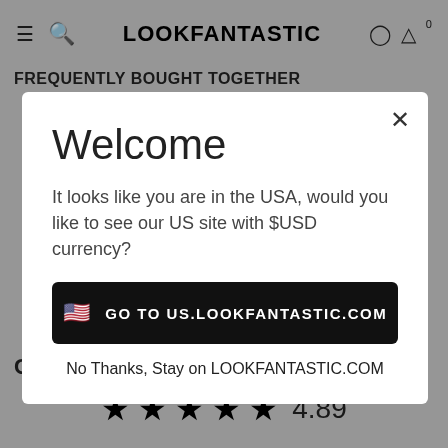LOOKFANTASTIC
FREQUENTLY BOUGHT TOGETHER
[Figure (screenshot): Modal dialog on LOOKFANTASTIC website with Welcome message asking user to go to US site with $USD currency, containing a black button 'GO TO US.LOOKFANTASTIC.COM' and a secondary link 'No Thanks, Stay on LOOKFANTASTIC.COM']
Customer Reviews
4.89